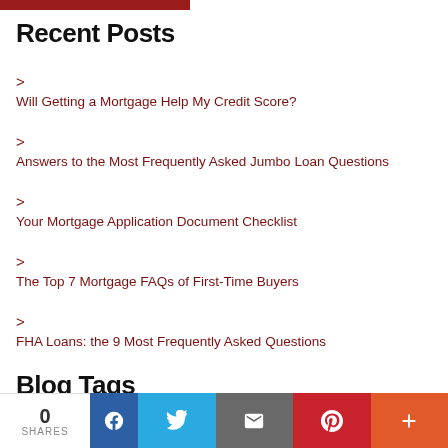[Figure (other): Dark red horizontal bar at top of page]
Recent Posts
Will Getting a Mortgage Help My Credit Score?
Answers to the Most Frequently Asked Jumbo Loan Questions
Your Mortgage Application Document Checklist
The Top 7 Mortgage FAQs of First-Time Buyers
FHA Loans: the 9 Most Frequently Asked Questions
Blog Tags
[Figure (other): Social sharing bar with share count (0 SHARES), Facebook, Twitter, Email, Pinterest, and More buttons]